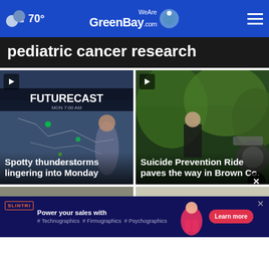70° — WeAreGreenBay.com — menu
pediatric cancer research
[Figure (screenshot): Weather forecast video thumbnail showing FUTURECAST MON 7:00 AM map with meteorologist]
Spotty thunderstorms lingering into Monday
[Figure (screenshot): Outdoor video thumbnail with person near motorcycle and trees]
Suicide Prevention Ride paves the way in Brown Co.
[Figure (screenshot): Partial bottom card 1]
[Figure (screenshot): Partial bottom card 2 showing Rapid Test text]
[Figure (screenshot): Advertisement banner: SLINTRI - Power your sales with Technographics Firmographics Psychographics - Learn more]